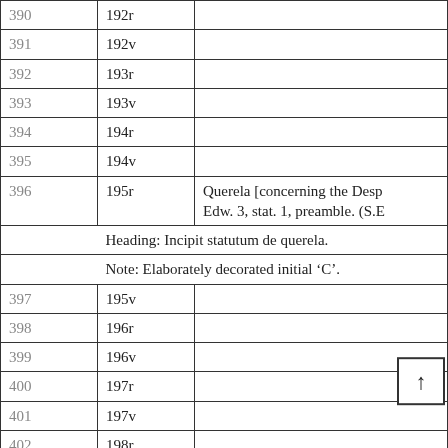| # | Folio | Content |
| --- | --- | --- |
| 390 | 192r |  |
| 391 | 192v |  |
| 392 | 193r |  |
| 393 | 193v |  |
| 394 | 194r |  |
| 395 | 194v |  |
| 396 | 195r | Querela [concerning the Desp... Edw. 3, stat. 1, preamble. (S.E... |
|  | Heading: Incipit statutum de querela. |  |
|  | Note: Elaborately decorated initial ‘C’. |  |
| 397 | 195v |  |
| 398 | 196r |  |
| 399 | 196v |  |
| 400 | 197r |  |
| 401 | 197v |  |
| 402 | 198r |  |
| 403 | 198v |  |
| 404 | 199r |  |
| 405 | 199... |  |